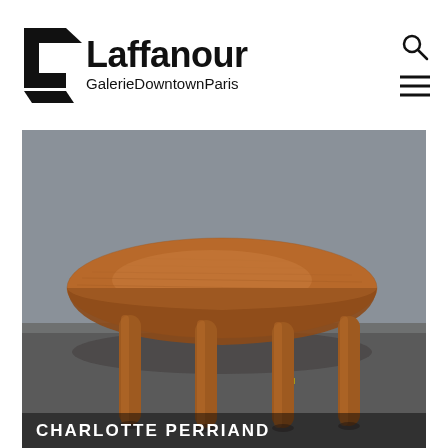[Figure (logo): Laffanour Galerie Downtown Paris logo with geometric black angular L shape and bold sans-serif text]
[Figure (photo): Round wooden dining table with cylindrical legs, warm walnut/chestnut wood with visible grain, photographed against grey studio background]
CHARLOTTE PERRIAND